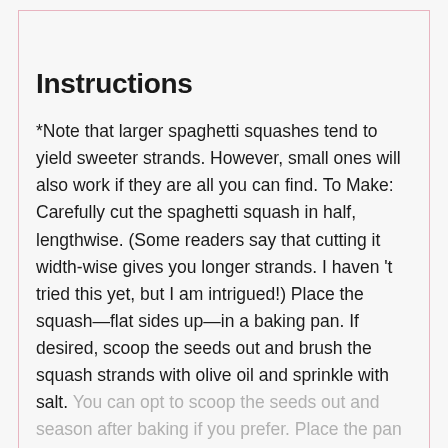Instructions
*Note that larger spaghetti squashes tend to yield sweeter strands. However, small ones will also work if they are all you can find. To Make: Carefully cut the spaghetti squash in half, lengthwise. (Some readers say that cutting it width-wise gives you longer strands. I haven't tried this yet, but I am intrigued!) Place the squash—flat sides up—in a baking pan. If desired, scoop the seeds out and brush the squash strands with olive oil and sprinkle with salt. You can opt to scoop the seeds out and season after baking if you prefer. Place the pan